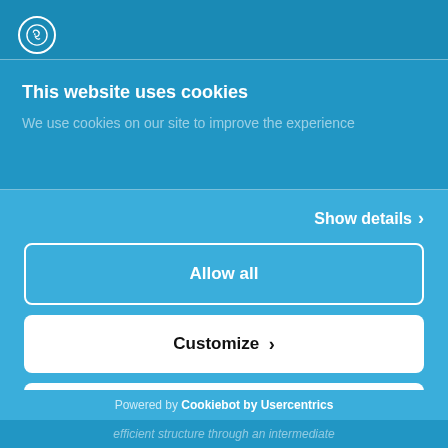[Figure (logo): Cookiebot logo icon — circular emblem with stylized design in white outline on blue background]
This website uses cookies
We use cookies on our site to improve the experience
Show details >
Allow all
Customize >
Deny
Powered by Cookiebot by Usercentrics
efficient structure through an intermediate